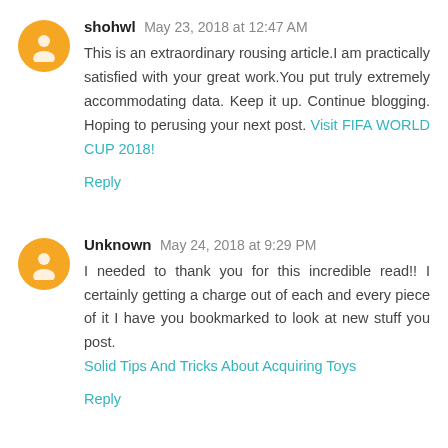shohwl May 23, 2018 at 12:47 AM
This is an extraordinary rousing article.I am practically satisfied with your great work.You put truly extremely accommodating data. Keep it up. Continue blogging. Hoping to perusing your next post. Visit FIFA WORLD CUP 2018!
Reply
Unknown May 24, 2018 at 9:29 PM
I needed to thank you for this incredible read!! I certainly getting a charge out of each and every piece of it I have you bookmarked to look at new stuff you post. Solid Tips And Tricks About Acquiring Toys
Reply